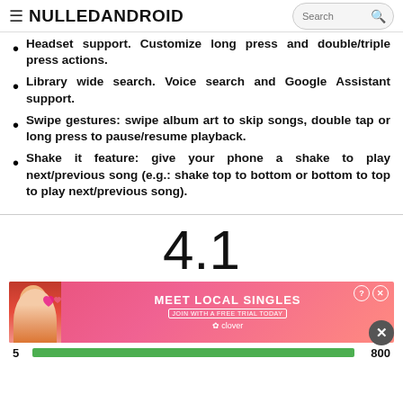≡ NULLEDANDROID Search
Headset support. Customize long press and double/triple press actions.
Library wide search. Voice search and Google Assistant support.
Swipe gestures: swipe album art to skip songs, double tap or long press to pause/resume playback.
Shake it feature: give your phone a shake to play next/previous song (e.g.: shake top to bottom or bottom to top to play next/previous song).
[Figure (screenshot): Rating section showing 4.1 score with an advertisement banner for 'MEET LOCAL SINGLES' with a woman photo, hearts, and clover branding. Below is a rating bar row showing 5 with a green bar and 800.]